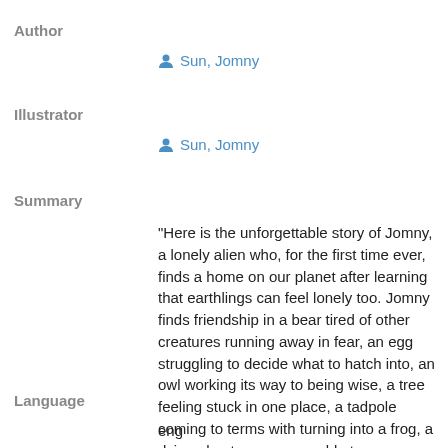Author
Sun, Jomny
Illustrator
Sun, Jomny
Summary
"Here is the unforgettable story of Jomny, a lonely alien who, for the first time ever, finds a home on our planet after learning that earthlings can feel lonely too. Jomny finds friendship in a bear tired of other creatures running away in fear, an egg struggling to decide what to hatch into, an owl working its way to being wise, a tree feeling stuck in one place, a tadpole coming to terms with turning into a frog, a dying ghost, a puppy unable to express itself, and many more" --
Language
eng